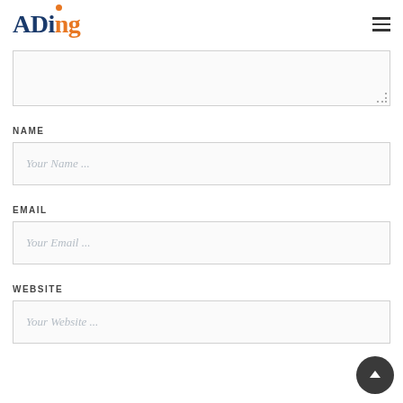ADing
[Figure (screenshot): Textarea form field, partially visible at top of content area]
NAME
[Figure (screenshot): Text input field with placeholder 'Your Name ...']
EMAIL
[Figure (screenshot): Text input field with placeholder 'Your Email ...']
WEBSITE
[Figure (screenshot): Text input field with placeholder 'Your Website ...']